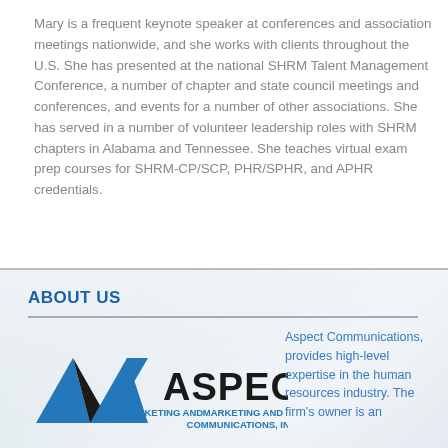Mary is a frequent keynote speaker at conferences and association meetings nationwide, and she works with clients throughout the U.S. She has presented at the national SHRM Talent Management Conference, a number of chapter and state council meetings and conferences, and events for a number of other associations. She has served in a number of volunteer leadership roles with SHRM chapters in Alabama and Tennessee. She teaches virtual exam prep courses for SHRM-CP/SCP, PHR/SPHR, and APHR credentials.
ABOUT US
[Figure (logo): Aspect Marketing and Communications, Inc. logo with blue triangles and black triangle forming a pyramid shape]
Aspect Communications, provides high-level expertise in the human resources industry. The firm's owner is an